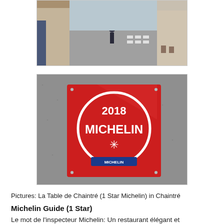[Figure (photo): Street scene photo showing a person standing in a village road, crosswalk visible in background, stone buildings on sides]
[Figure (photo): Photo of a red Michelin Guide 2018 one-star plaque mounted on a grey stone wall. White circle with '2018', 'MICHELIN', a snowflake-like star symbol, and the Michelin logo at bottom.]
Pictures: La Table de Chaintré (1 Star Michelin) in Chaintré
Michelin Guide (1 Star)
Le mot de l'inspecteur Michelin: Un restaurant élégant et contemporain, au coeur du vignoble de Pouilly-Fuissé, du rouge cardinal sur les murs, de beaux produits du marché aux couleurs délicieuses, des recettes plutôt tendance, un